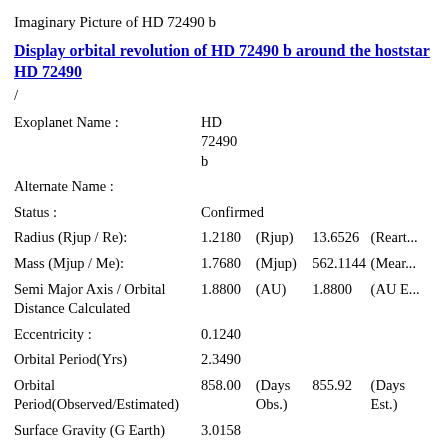Imaginary Picture of HD 72490 b
Display orbital revolution of HD 72490 b around the hoststar HD 72490
/
| Property | Value1 | Unit1 | Value2 | Unit2 |
| --- | --- | --- | --- | --- |
| Exoplanet Name : | HD 72490 b |  |  |  |
| Alternate Name : |  |  |  |  |
| Status : | Confirmed |  |  |  |
| Radius (Rjup / Re): | 1.2180 | (Rjup) | 13.6526 | (Rearth) |
| Mass (Mjup / Me): | 1.7680 | (Mjup) | 562.1144 | (Mearth) |
| Semi Major Axis / Orbital Distance Calculated | 1.8800 | (AU) | 1.8800 | (AU E...) |
| Eccentricity : | 0.1240 |  |  |  |
| Orbital Period(Yrs) | 2.3490 |  |  |  |
| Orbital Period(Observed/Estimated) | 858.00 | (Days Obs.) | 855.92 | (Days Est.) |
| Surface Gravity (G Earth) | 3.0158 |  |  |  |
| Star Radiation at Atmospheric Boundary: | 5058.8 | (W/m2) |  |  |
| Measured Temperature (K) | 0.0 | (K) |  |  |
| Blackbody T 8.1(K) | 375.4 | (K) |  |  |